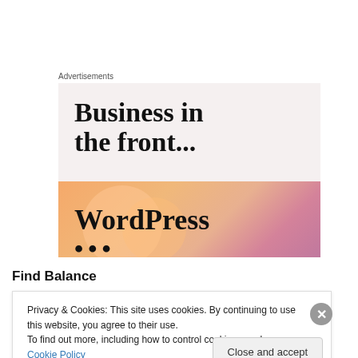Advertisements
[Figure (illustration): WordPress advertisement banner. Top half shows 'Business in the front...' text on a light pink/beige background. Bottom half shows 'WordPress' text on an orange-to-pink gradient background with circular decorative shapes.]
Find Balance
Privacy & Cookies: This site uses cookies. By continuing to use this website, you agree to their use.
To find out more, including how to control cookies, see here: Cookie Policy
Close and accept